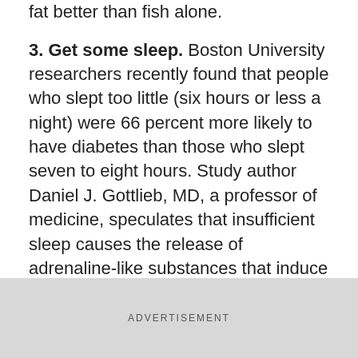fat better than fish alone.
3. Get some sleep. Boston University researchers recently found that people who slept too little (six hours or less a night) were 66 percent more likely to have diabetes than those who slept seven to eight hours. Study author Daniel J. Gottlieb, MD, a professor of medicine, speculates that insufficient sleep causes the release of adrenaline-like substances that induce insulin resistance, though more research in this area is needed.
Popular Videos
ADVERTISEMENT